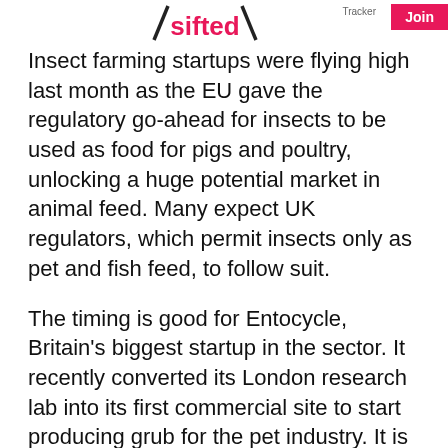sifted | Tracker | Join
Insect farming startups were flying high last month as the EU gave the regulatory go-ahead for insects to be used as food for pigs and poultry, unlocking a huge potential market in animal feed. Many expect UK regulators, which permit insects only as pet and fish feed, to follow suit.
The timing is good for Entocycle, Britain's biggest startup in the sector. It recently converted its London research lab into its first commercial site to start producing grub for the pet industry. It is raising a £22m Series A, of which £5.2m is already secured. And early next year, it will start building a large-scale farm in Scotland to sell insects to industrial animal feed producers in large quantities.
The rest of Europe has caught the bug as well: French mealworm farmer Ÿnsect has already raked in $400m in